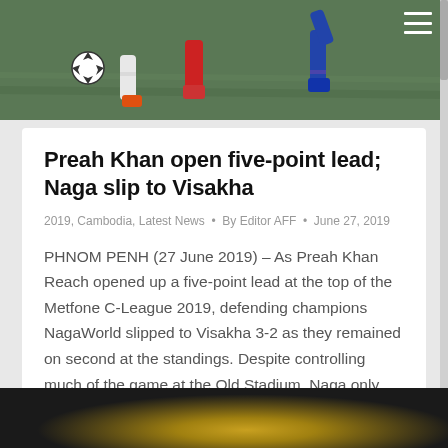[Figure (photo): Soccer players on a grass field, partial view of legs and a soccer ball]
Preah Khan open five-point lead; Naga slip to Visakha
2019, Cambodia, Latest News • By Editor AFF • June 27, 2019
PHNOM PENH (27 June 2019) – As Preah Khan Reach opened up a five-point lead at the top of the Metfone C-League 2019, defending champions NagaWorld slipped to Visakha 3-2 as they remained on second at the standings. Despite controlling much of the game at the Old Stadium, Naga only found the back of the…
[Figure (photo): Dark image of two soccer players, one with a headband, with a yellow light in background]